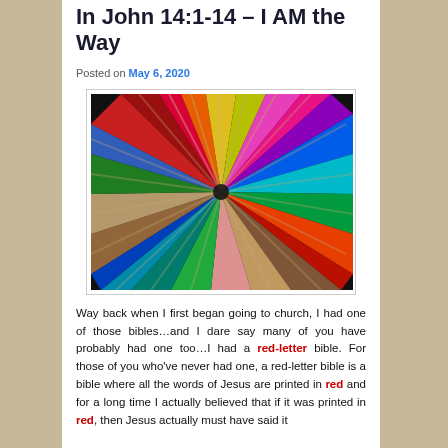In John 14:1-14 – I AM the Way
Posted on May 6, 2020
[Figure (photo): Close-up photo of many colored pencils arranged in a circle with their tips pointing toward the center, showing a variety of colors including red, orange, yellow, green, blue, purple, pink, and brown.]
Way back when I first began going to church, I had one of those bibles…and I dare say many of you have probably had one too…I had a red-letter bible. For those of you who've never had one, a red-letter bible is a bible where all the words of Jesus are printed in red and for a long time I actually believed that if it was printed in red, then Jesus actually must have said it